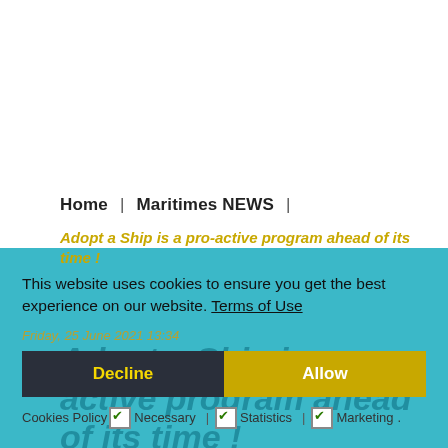Home | Maritimes NEWS |
Adopt a Ship is a pro-active program ahead of its time !
This website uses cookies to ensure you get the best experience on our website. Terms of Use
Friday, 25 June 2021 13:34
Decline  Allow
Cookies Policy  ✔ Necessary | ✔ Statistics | ✔ Marketing
Adopt a Ship is a pro-active program ahead of its time !